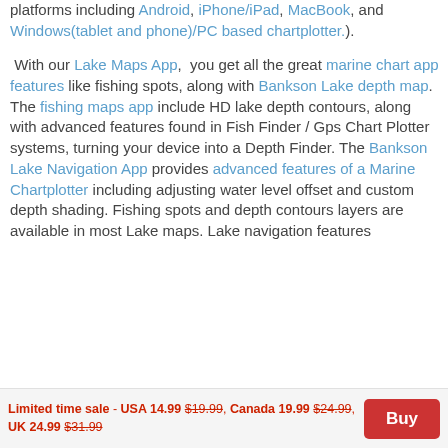platforms including Android, iPhone/iPad, MacBook, and Windows(tablet and phone)/PC based chartplotter.).
With our Lake Maps App, you get all the great marine chart app features like fishing spots, along with Bankson Lake depth map. The fishing maps app include HD lake depth contours, along with advanced features found in Fish Finder / Gps Chart Plotter systems, turning your device into a Depth Finder. The Bankson Lake Navigation App provides advanced features of a Marine Chartplotter including adjusting water level offset and custom depth shading. Fishing spots and depth contours layers are available in most Lake maps. Lake navigation features
Limited time sale - USA 14.99 $19.99, Canada 19.99 $24.99, UK 24.99 $31.99